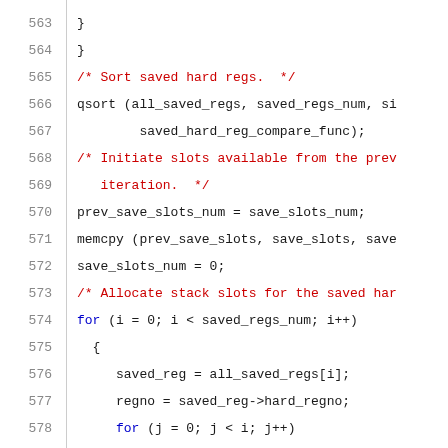[Figure (screenshot): Source code listing showing lines 563-584 of a C program dealing with saved hard registers, stack slots allocation, and register comparison logic.]